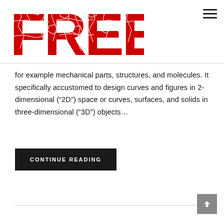[Figure (logo): Large red cracked/textured 'FREE!' logo text with white crack lines through the letters]
for example mechanical parts, structures, and molecules. It specifically accustomed to design curves and figures in 2-dimensional (“2D”) space or curves, surfaces, and solids in three-dimensional (“3D”) objects…
CONTINUE READING